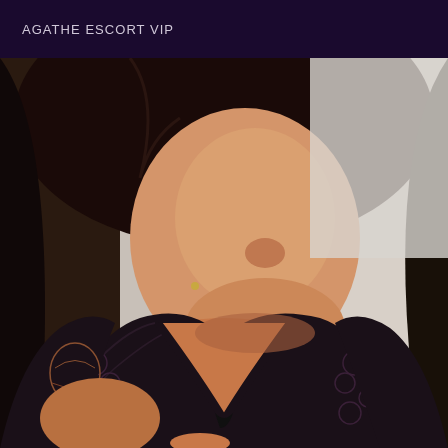AGATHE ESCORT VIP
[Figure (photo): Close-up photo of a woman with long dark hair, red lipstick, wearing a black lace top/robe, leaning forward against a light background.]